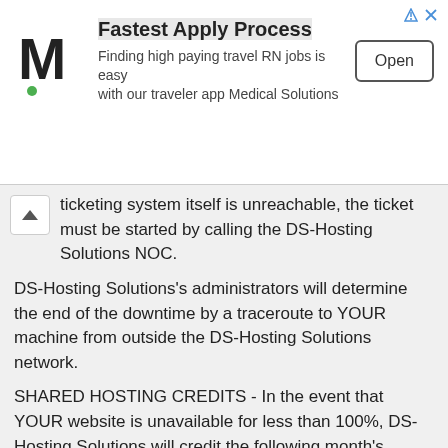[Figure (other): Advertisement banner: Medical Solutions logo (M with green dot), title 'Fastest Apply Process', subtitle 'Finding high paying travel RN jobs is easy with our traveler app Medical Solutions', and an 'Open' button. Navigation icons top-right.]
ticketing system itself is unreachable, the ticket must be started by calling the DS-Hosting Solutions NOC.
DS-Hosting Solutions's administrators will determine the end of the downtime by a traceroute to YOUR machine from outside the DS-Hosting Solutions network.
SHARED HOSTING CREDITS - In the event that YOUR website is unavailable for less than 100%, DS-Hosting Solutions will credit the following month's service fee as follows. YOUR credit shall be retroactive and measured in 24 hours a day of a calendar month, with the maximum credit not exceeding 50% of the monthly